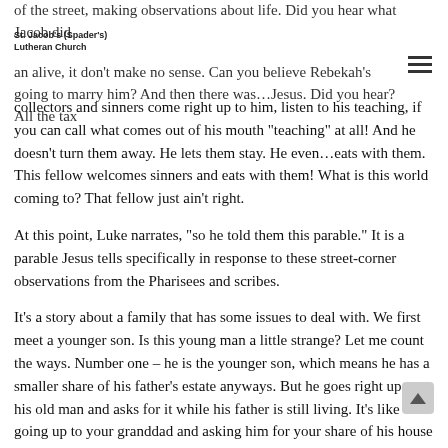St. Jacob's (Spader's) Lutheran Church
of the street, making observations about life. Did you hear what Jacob did an alive, it don’t make no sense. Can you believe Rebekah’s going to marry him? And then there was…Jesus. Did you hear? All the tax collectors and sinners come right up to him, listen to his teaching, if you can call what comes out of his mouth “teaching” at all! And he doesn’t turn them away. He lets them stay. He even…eats with them. This fellow welcomes sinners and eats with them! What is this world coming to? That fellow just ain’t right.
At this point, Luke narrates, “so he told them this parable.” It is a parable Jesus tells specifically in response to these street-corner observations from the Pharisees and scribes.
It’s a story about a family that has some issues to deal with. We first meet a younger son. Is this young man a little strange? Let me count the ways. Number one – he is the younger son, which means he has a smaller share of his father’s estate anyways. But he goes right up to his old man and asks for it while his father is still living. It’s like going up to your granddad and asking him for your share of his house when he’s still living in it! It’s as if he was wishing his father were dead. That boy ain’t right. But here’s what’s